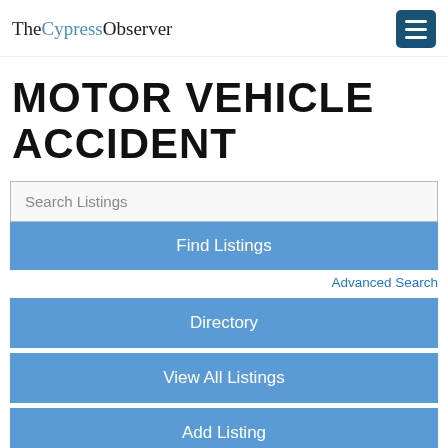TheCypressObserver
MOTOR VEHICLE ACCIDENT
Search Listings
Find Listings
Advanced Search
Directory
View All Listings
Add Listing
Displaying listings from all locations.